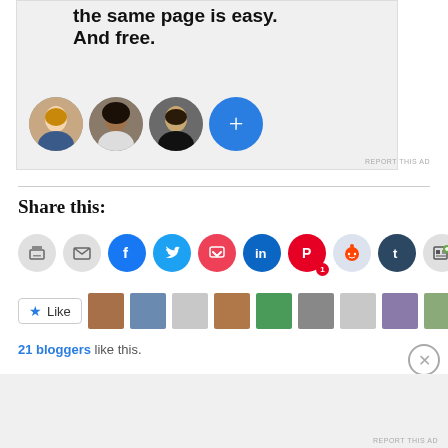[Figure (screenshot): Advertisement banner showing 'Getting your team on the same page is easy. And free.' with three circular person avatars and a blue plus button]
REPORT THIS AD
Share this:
[Figure (infographic): Row of social sharing icon buttons: print, email, Facebook, Twitter, Pocket, LinkedIn, Pinterest (with 1 count), Reddit, Tumblr, Press This]
[Figure (infographic): Like button with star icon followed by a row of blogger avatar thumbnails]
21 bloggers like this.
Advertisements